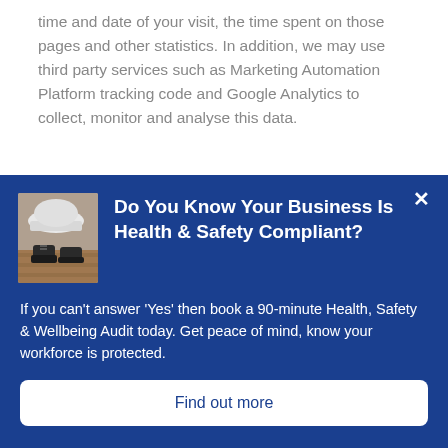time and date of your visit, the time spent on those pages and other statistics. In addition, we may use third party services such as Marketing Automation Platform tracking code and Google Analytics to collect, monitor and analyse this data.
[Figure (photo): Photo of construction hard hat and safety boots on wooden surface, representing health and safety theme]
Do You Know Your Business Is Health & Safety Compliant?
If you can't answer 'Yes' then book a 90-minute Health, Safety & Wellbeing Audit today. Get peace of mind, know your workforce is protected.
Find out more